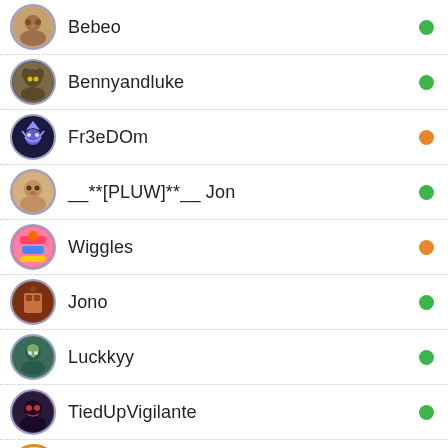Bebeo
Bennyandluke
Fr3eDOm
__**[PLUW]**__ Jon
Wiggles
Jono
Luckkyy
TiedUpVigilante
BuzzKillington
CDirt
FlameAlFuego